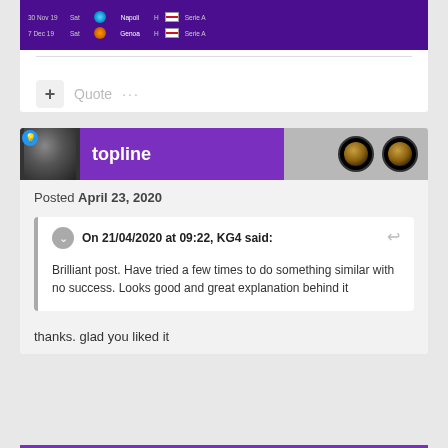[Figure (screenshot): Sports schedule screenshot showing match fixtures on purple background with dates 30 Nov 19 (Napoli, Serie A) and 7 Dec 19 (Genoa, Serie A)]
+ Quote ...
[Figure (screenshot): Forum user header with avatar, username 'topline' in purple bar, Inter Milan badges on grey background]
Posted April 23, 2020
On 21/04/2020 at 09:22, KG4 said: Brilliant post. Have tried a few times to do something similar with no success. Looks good and great explanation behind it
thanks. glad you liked it